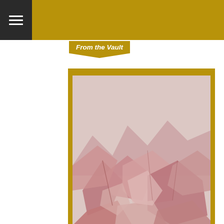From the Vault
[Figure (illustration): Album art for Atlas Arrows showing a stylized pink/mauve rocky or mountainous terrain illustration with angular geometric shapes on a light background. Watermark text reads 'ATLAS ARROWS' on lower left and 'SHARNY DAYS' on lower right.]
PREMIERE: ATLAS ARROWS, “IT’S EASY”
Mar 4, 2014
[Figure (photo): Partial view of a black and white photo peeking in at bottom of main card area.]
[Figure (photo): Advertisement photo showing a modern kitchen with white cabinets and pendant lights. Landmark Surfaces logo and name shown below.]
Spring Sale | Up To 10% Off
Contact Us
Landmark Surfaces